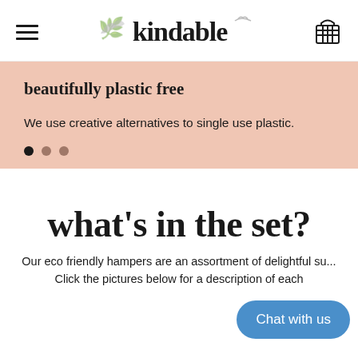kindable
beautifully plastic free
We use creative alternatives to single use plastic.
what's in the set?
Our eco friendly hampers are an assortment of delightful su... Click the pictures below for a description of each